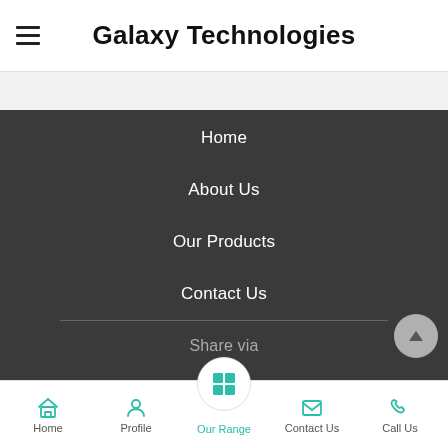Galaxy Technologies
Home
About Us
Our Products
Contact Us
Share via
© Galaxy Technologies
Home  Profile  Our Range  Contact Us  Call Us